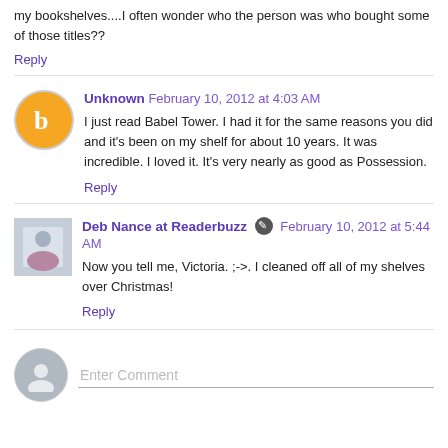my bookshelves....I often wonder who the person was who bought some of those titles??
Reply
Unknown  February 10, 2012 at 4:03 AM
I just read Babel Tower. I had it for the same reasons you did and it's been on my shelf for about 10 years. It was incredible. I loved it. It's very nearly as good as Possession.
Reply
Deb Nance at Readerbuzz  February 10, 2012 at 5:44 AM
Now you tell me, Victoria. ;->. I cleaned off all of my shelves over Christmas!
Reply
Enter Comment